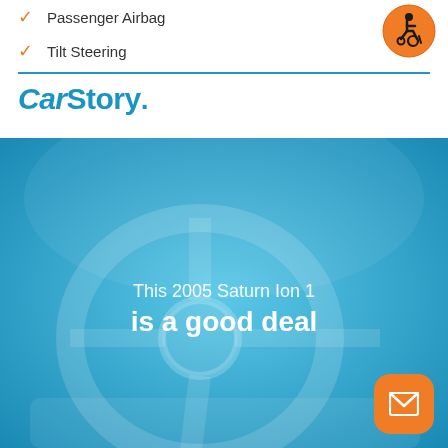Passenger Airbag
Tilt Steering
[Figure (logo): CarStory brand logo in blue italic/bold text with registered trademark symbol]
[Figure (photo): Car interior showing steering wheel with blue overlay tint. Text overlay: 'This 2005 Saturn Ion 1 is a good deal'. Orange email button in bottom right corner.]
This 2005 Saturn Ion 1
is a good deal